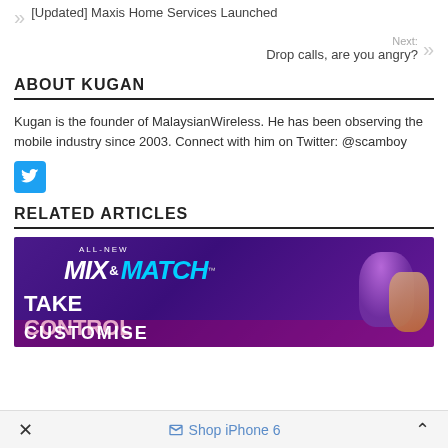[Updated] Maxis Home Services Launched
Next: Drop calls, are you angry?
ABOUT KUGAN
Kugan is the founder of MalaysianWireless. He has been observing the mobile industry since 2003. Connect with him on Twitter: @scamboy
[Figure (logo): Twitter bird icon button in blue]
RELATED ARTICLES
[Figure (photo): Advertisement banner with purple background showing 'All-New MIX & MATCH' text with 'TAKE CONTROL' and 'CUSTOMISE' text with a person jumping]
× Shop iPhone 6 ∧